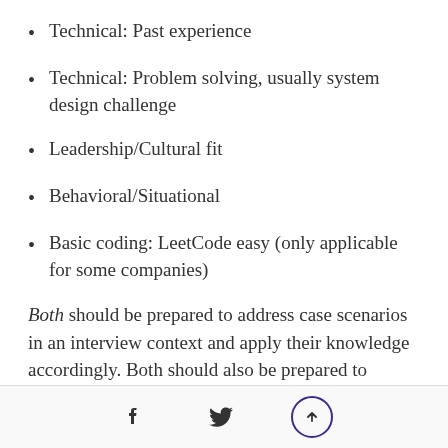Technical: Past experience
Technical: Problem solving, usually system design challenge
Leadership/Cultural fit
Behavioral/Situational
Basic coding: LeetCode easy (only applicable for some companies)
Both should be prepared to address case scenarios in an interview context and apply their knowledge accordingly. Both should also be prepared to demonstrate success in working on teams and
[social share buttons and scroll-to-top]